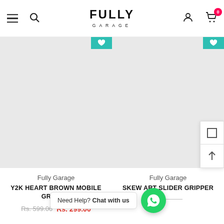[Figure (screenshot): Fully Garage e-commerce website header with hamburger menu, search icon, FULLY GARAGE logo, user icon, and cart icon with badge showing 0]
[Figure (photo): Product image placeholder for Y2K Heart Brown Mobile Gripper (light grey rectangle)]
Fully Garage
Y2K HEART BROWN MOBILE GRIPPER
Rs. 599.00  Rs. 299.00
[Figure (photo): Product image placeholder for Skew Art Slider Gripper (light grey rectangle)]
Fully Garage
SKEW ART SLIDER GRIPPER
Need Help? Chat with us